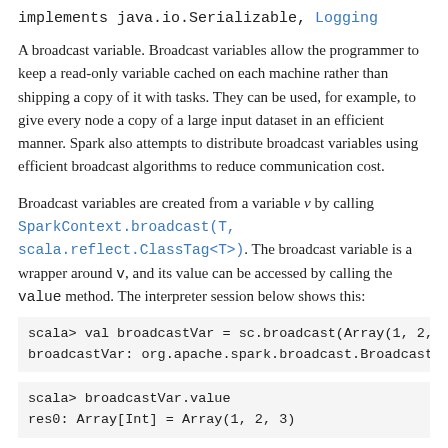implements java.io.Serializable, Logging
A broadcast variable. Broadcast variables allow the programmer to keep a read-only variable cached on each machine rather than shipping a copy of it with tasks. They can be used, for example, to give every node a copy of a large input dataset in an efficient manner. Spark also attempts to distribute broadcast variables using efficient broadcast algorithms to reduce communication cost.
Broadcast variables are created from a variable v by calling SparkContext.broadcast(T, scala.reflect.ClassTag<T>). The broadcast variable is a wrapper around v, and its value can be accessed by calling the value method. The interpreter session below shows this:
scala> val broadcastVar = sc.broadcast(Array(1, 2,
broadcastVar: org.apache.spark.broadcast.Broadcast
scala> broadcastVar.value
res0: Array[Int] = Array(1, 2, 3)